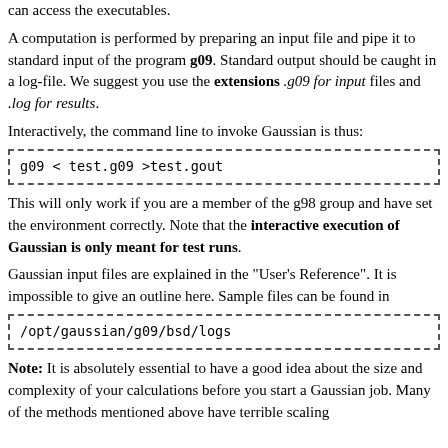can access the executables.
A computation is performed by preparing an input file and pipe it to standard input of the program g09. Standard output should be caught in a log-file. We suggest you use the extensions .g09 for input files and .log for results.
Interactively, the command line to invoke Gaussian is thus:
g09 < test.g09 >test.gout
This will only work if you are a member of the g98 group and have set the environment correctly. Note that the interactive execution of Gaussian is only meant for test runs.
Gaussian input files are explained in the "User's Reference". It is impossible to give an outline here. Sample files can be found in
/opt/gaussian/g09/bsd/logs
Note: It is absolutely essential to have a good idea about the size and complexity of your calculations before you start a Gaussian job. Many of the methods mentioned above have terrible scaling